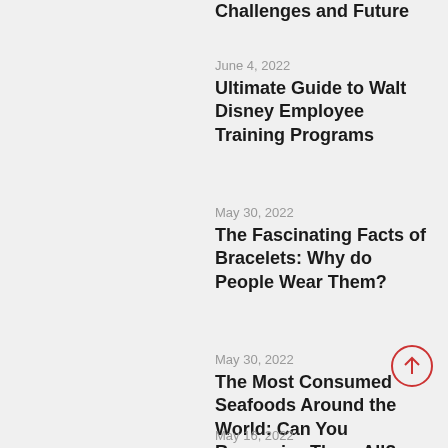Challenges and Future
June 4, 2022
Ultimate Guide to Walt Disney Employee Training Programs
May 30, 2022
The Fascinating Facts of Bracelets: Why do People Wear Them?
May 30, 2022
The Most Consumed Seafoods Around the World: Can You Recognize Them All?
May 16, 2022